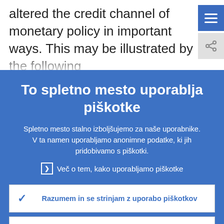altered the credit channel of monetary policy in important ways. This may be illustrated by the following
To spletno mesto uporablja piškotke
Spletno mesto stalno izboljšujemo za naše uporabnike. V ta namen uporabljamo anonimne podatke, ki jih pridobivamo s piškotki.
Več o tem, kako uporabljamo piškotke
Razumem in se strinjam z uporabo piškotkov
Ne strinjam se z uporabo piškotkov